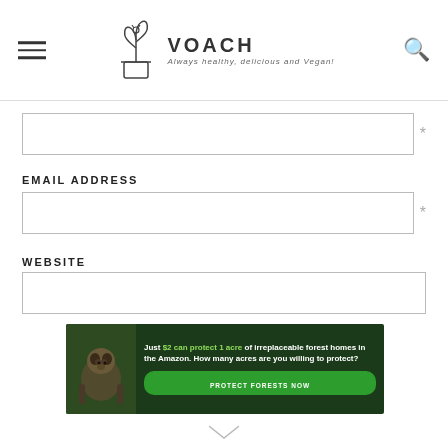VOACH — Always healthy, delicious and Vegan!
[input field - required]
EMAIL ADDRESS
[email input field - required]
WEBSITE
[website input field]
[Figure (infographic): Advertisement banner: dark forest background with a sloth. Text reads: 'Just $2 can protect 1 acre of irreplaceable forest homes in the Amazon. How many acres are you willing to protect?' Green button: 'PROTECT FORESTS NOW']